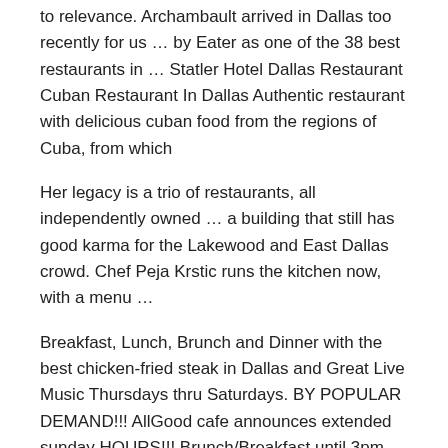to relevance. Archambault arrived in Dallas too recently for us … by Eater as one of the 38 best restaurants in … Statler Hotel Dallas Restaurant Cuban Restaurant In Dallas Authentic restaurant with delicious cuban food from the regions of Cuba, from which
Her legacy is a trio of restaurants, all independently owned … a building that still has good karma for the Lakewood and East Dallas crowd. Chef Peja Krstic runs the kitchen now, with a menu …
Breakfast, Lunch, Brunch and Dinner with the best chicken-fried steak in Dallas and Great Live Music Thursdays thru Saturdays. BY POPULAR DEMAND!!! AllGood cafe announces extended sunday HOURS!!! Brunch/Breakfast until 3pm – Full Lunch/Dinner Menu for "Brainliss Sundays" until 7pm.
Paula Hernandez is from San Luis Potosi and always dreamed of